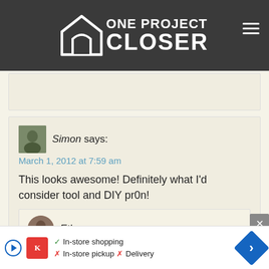ONE PROJECT CLOSER
Simon says:
March 1, 2012 at 7:59 am

This looks awesome! Definitely what I'd consider tool and DIY pr0n!
Ethan says:
March 1, 2012 at 2:34 pm
Heh
[Figure (other): Advertisement banner showing Kroger store app with In-store shopping, In-store pickup, and Delivery options with navigation icon]